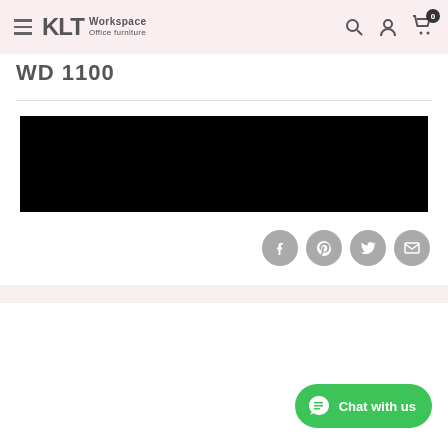KLT Workspace Office furniture - navigation header
WD 1100
[Figure (photo): Black rectangular image/product photo placeholder]
[Figure (infographic): Social share buttons: Facebook, Pinterest, Twitter, Email]
[Figure (infographic): WhatsApp Chat with us button (green)]